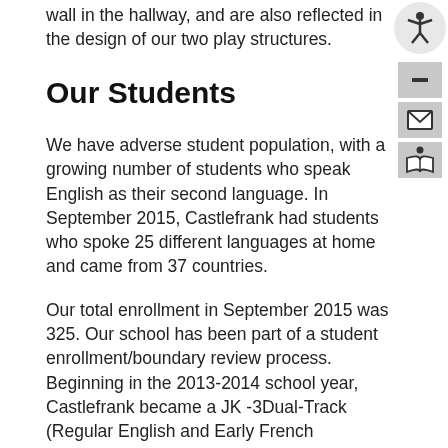wall in the hallway, and are also reflected in the design of our two play structures.
Our Students
We have adverse student population, with a growing number of students who speak English as their second language. In September 2015, Castlefrank had students who spoke 25 different languages at home and came from 37 countries.
Our total enrollment in September 2015 was 325. Our school has been part of a student enrollment/boundary review process. Beginning in the 2013-2014 school year, Castlefrank became a JK -3Dual-Track (Regular English and Early French Immersion) Primary school. When students leave Castlefrank Elementary School they move on to Katimavik Elementary School for Grades 4-8 and then on to the Earl of March Secondary School